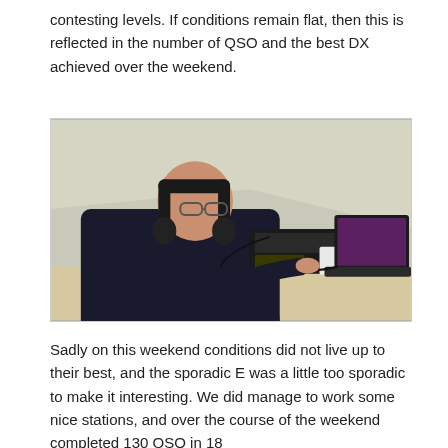contesting levels. If conditions remain flat, then this is reflected in the number of QSO and the best DX achieved over the weekend.
[Figure (photo): A man wearing headphones sitting at a table inside a tent, operating a radio transceiver connected to a laptop computer.]
Sadly on this weekend conditions did not live up to their best, and the sporadic E was a little too sporadic to make it interesting. We did manage to work some nice stations, and over the course of the weekend completed 130 QSO in 18